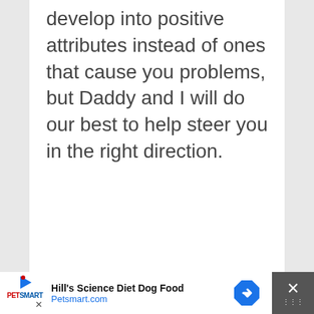develop into positive attributes instead of ones that cause you problems, but Daddy and I will do our best to help steer you in the right direction.
[Figure (infographic): Advertisement banner for Hill's Science Diet Dog Food at Petsmart.com, featuring PetSmart logo with play icon, ad text, blue diamond arrow icon, and close button with X mark.]